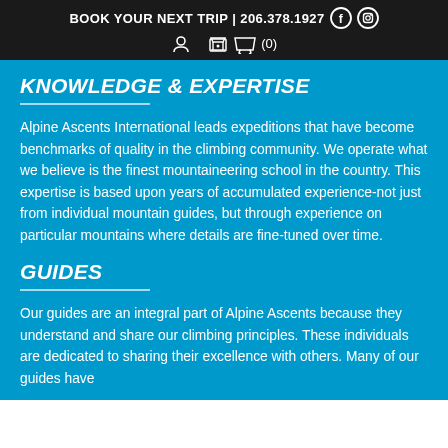BOOK YOUR NEXT TRIP | 206.378.1927 [Facebook] [Instagram]
KNOWLEDGE & EXPERTISE
Alpine Ascents International leads expeditions that have become benchmarks of quality in the climbing community. We operate what we believe is the finest mountaineering school in the country. This expertise is based upon years of accumulated experience-not just from individual mountain guides, but through experience on particular mountains where details are fine-tuned over time.
GUIDES
Our guides are an integral part of Alpine Ascents because they understand and share our climbing principles. These individuals are dedicated to sharing their excellence with others. Many of our guides have